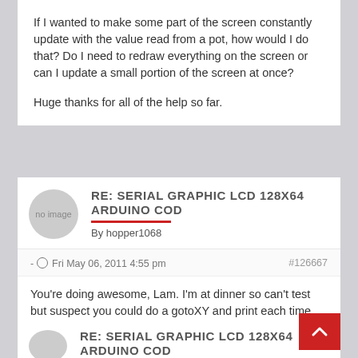If I wanted to make some part of the screen constantly update with the value read from a pot, how would I do that? Do I need to redraw everything on the screen or can I update a small portion of the screen at once?

Huge thanks for all of the help so far.
RE: SERIAL GRAPHIC LCD 128X64 ARDUINO COD
By hopper1068
- Fri May 06, 2011 4:55 pm  #126667
You're doing awesome, Lam. I'm at dinner so can't test but suspect you could do a gotoXY and print each time without clearing.
RE: SERIAL GRAPHIC LCD 128X64 ARDUINO COD